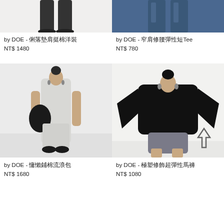[Figure (photo): Top portion of female model wearing a cotton dress with black boots, cropped at waist level against white background]
by DOE - 俐落墊肩挺棉洋裝
NT$ 1480
[Figure (photo): Top portion of female model wearing navy blue wide-leg pants, cropped at waist level against white background]
by DOE - 窄肩修腰彈性短Tee
NT$ 780
[Figure (photo): Full body female model wearing light gray sleeveless long dress carrying a black shoulder bag, standing against white background]
by DOE - 慵懶鋪棉流浪包
NT$ 1680
[Figure (photo): Female model wearing oversized black long-sleeve top and gray cycling shorts, with an upward arrow icon in background, against white background]
by DOE - 極塑修飾超彈性馬褲
NT$ 1080